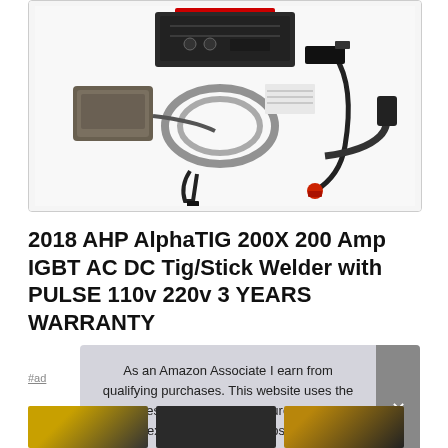[Figure (photo): Product photo of AHP AlphaTIG 200X welding equipment kit showing foot pedal, cables, torch, clamp, and accessories on white background]
2018 AHP AlphaTIG 200X 200 Amp IGBT AC DC Tig/Stick Welder with PULSE 110v 220v 3 YEARS WARRANTY
#ad
As an Amazon Associate I earn from qualifying purchases. This website uses the only necessary cookies to ensure you get the best experience on our website. More information